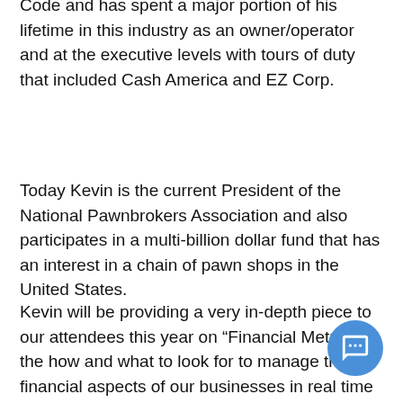Code and has spent a major portion of his lifetime in this industry as an owner/operator and at the executive levels with tours of duty that included Cash America and EZ Corp.
Today Kevin is the current President of the National Pawnbrokers Association and also participates in a multi-billion dollar fund that has an interest in a chain of pawn shops in the United States.
Kevin will be providing a very in-depth piece to our attendees this year on “Financial Metrics”, the how and what to look for to manage the financial aspects of our businesses in real time today. This piece is also an exclusive one-of-kind that Kevin’ is working up to present to our group in the Cayman Islands this year.
A very exclusive opportunity to hear it from one of